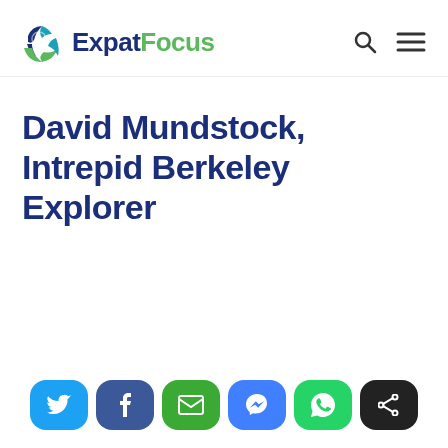ExpatFocus
David Mundstock, Intrepid Berkeley Explorer
[Figure (infographic): Social share buttons: Twitter, Facebook, Email, Messenger, WhatsApp, Share]